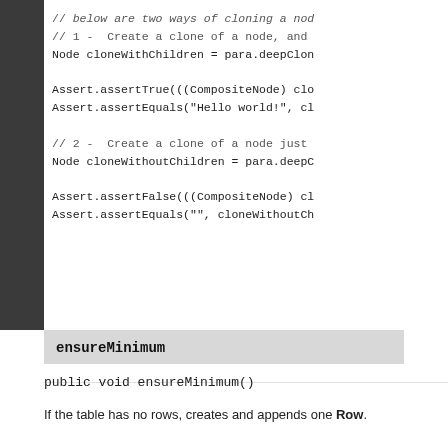ASPOSE
[Figure (screenshot): Code snippet showing Node cloneWithChildren and cloneWithoutChildren operations with Assert statements]
ensureMinimum
public void ensureMinimum()
If the table has no rows, creates and appends one Row.